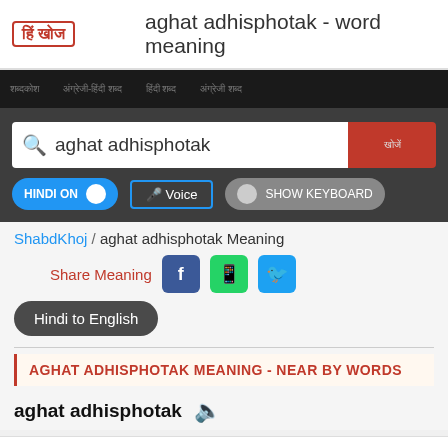aghat adhisphotak - word meaning
[Figure (logo): HindiKhoj logo - stylized Hindi text in red border box]
[Hindi navigation menu items]
aghat adhisphotak [search box]
HINDI ON | Voice | SHOW KEYBOARD
ShabdKhoj / aghat adhisphotak Meaning
Share Meaning [Facebook] [WhatsApp] [Twitter]
Hindi to English
AGHAT ADHISPHOTAK MEANING - NEAR BY WORDS
aghat adhisphotak [speaker icon]